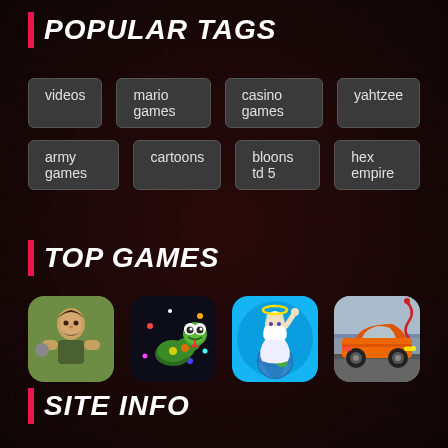POPULAR TAGS
videos
mario games
casino games
yahtzee
army games
cartoons
bloons td 5
hex empire
TOP GAMES
[Figure (photo): Game thumbnail: cartoon warrior/fighter character pixel art]
[Figure (photo): Game thumbnail: snake-like creature with googly eyes on dark background (Slither.io style)]
[Figure (photo): Game thumbnail: wizard/god figure holding earth globe on blue background]
[Figure (photo): Game thumbnail: orange sports car on road/bridge]
SITE INFO